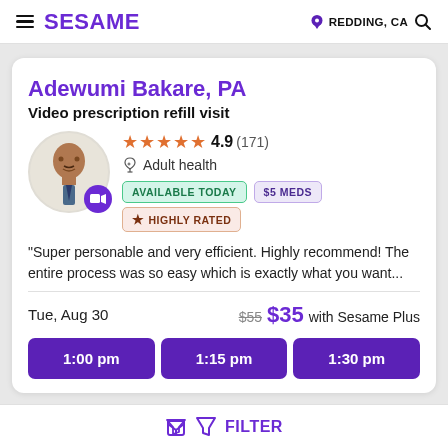SESAME  REDDING, CA
Adewumi Bakare, PA
Video prescription refill visit
4.9 (171) Adult health
AVAILABLE TODAY  $5 MEDS  ★ HIGHLY RATED
"Super personable and very efficient. Highly recommend! The entire process was so easy which is exactly what you want...
Tue, Aug 30  $55 $35 with Sesame Plus
1:00 pm  1:15 pm  1:30 pm
FILTER